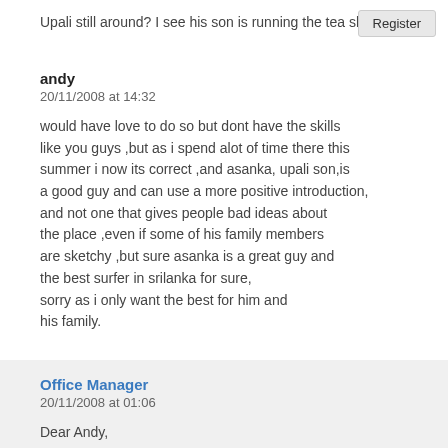Upali still around? I see his son is running the tea shop now.
Register
andy
20/11/2008 at 14:32
would have love to do so but dont have the skills like you guys ,but as i spend alot of time there this summer i now its correct ,and asanka, upali son,is a good guy and can use a more positive introduction, and not one that gives people bad ideas about the place ,even if some of his family members are sketchy ,but sure asanka is a great guy and the best surfer in srilanka for sure, sorry as i only want the best for him and his family.
Office Manager
20/11/2008 at 01:06
Dear Andy,